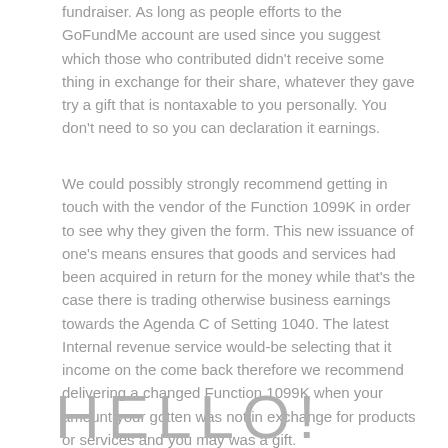fundraiser. As long as people efforts to the GoFundMe account are used since you suggest which those who contributed didn't receive some thing in exchange for their share, whatever they gave try a gift that is nontaxable to you personally. You don't need to so you can declaration it earnings.
We could possibly strongly recommend getting in touch with the vendor of the Function 1099K in order to see why they given the form. This new issuance of one's means ensures that goods and services had been acquired in return for the money while that's the case there is trading otherwise business earnings towards the Agenda C of Setting 1040. The latest Internal revenue service would-be selecting that it income on the come back therefore we recommend delivering a changed Function 1099K when your amount your gotten was not in exchange for products or services and you may was a gift.
HELLO!